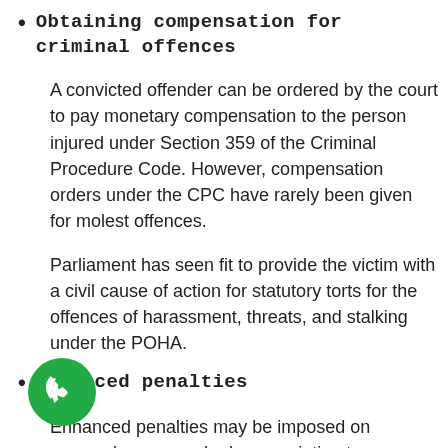Obtaining compensation for criminal offences
A convicted offender can be ordered by the court to pay monetary compensation to the person injured under Section 359 of the Criminal Procedure Code. However, compensation orders under the CPC have rarely been given for molest offences.
Parliament has seen fit to provide the victim with a civil cause of action for statutory torts for the offences of harassment, threats, and stalking under the POHA.
Enhanced penalties
Enhanced penalties may be imposed on accused persons who have an intimate relationship with the victim or are involved in a case involving vulnerable people. The maximum penalties for crimes against vulnerable